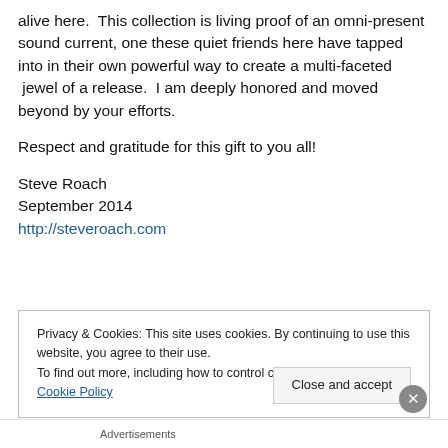alive here.  This collection is living proof of an omni-present sound current, one these quiet friends here have tapped into in their own powerful way to create a multi-faceted  jewel of a release.  I am deeply honored and moved beyond by your efforts.
Respect and gratitude for this gift to you all!
Steve Roach
September 2014
http://steveroach.com
Privacy & Cookies: This site uses cookies. By continuing to use this website, you agree to their use.
To find out more, including how to control cookies, see here: Cookie Policy
Close and accept
Advertisements